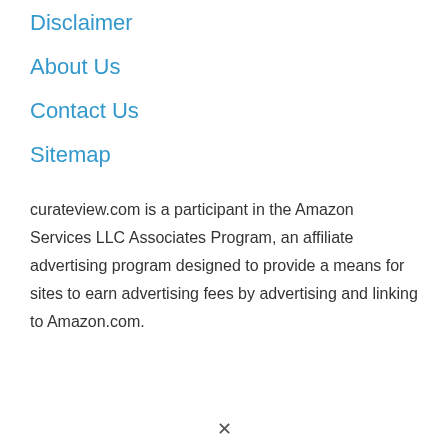Disclaimer
About Us
Contact Us
Sitemap
curateview.com is a participant in the Amazon Services LLC Associates Program, an affiliate advertising program designed to provide a means for sites to earn advertising fees by advertising and linking to Amazon.com.